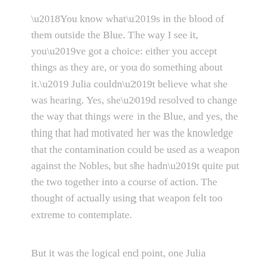'You know what's in the blood of them outside the Blue. The way I see it, you've got a choice: either you accept things as they are, or you do something about it.' Julia couldn't believe what she was hearing. Yes, she'd resolved to change the way that things were in the Blue, and yes, the thing that had motivated her was the knowledge that the contamination could be used as a weapon against the Nobles, but she hadn't quite put the two together into a course of action. The thought of actually using that weapon felt too extreme to contemplate.
But it was the logical end point, one Julia